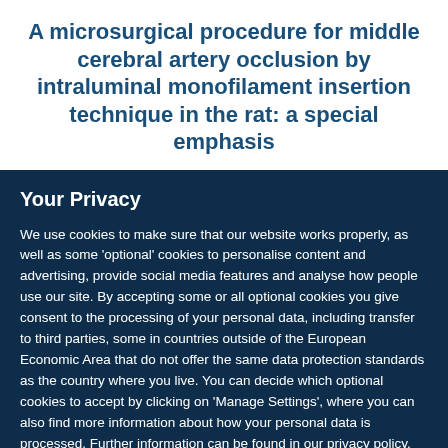A microsurgical procedure for middle cerebral artery occlusion by intraluminal monofilament insertion technique in the rat: a special emphasis
Your Privacy
We use cookies to make sure that our website works properly, as well as some 'optional' cookies to personalise content and advertising, provide social media features and analyse how people use our site. By accepting some or all optional cookies you give consent to the processing of your personal data, including transfer to third parties, some in countries outside of the European Economic Area that do not offer the same data protection standards as the country where you live. You can decide which optional cookies to accept by clicking on 'Manage Settings', where you can also find more information about how your personal data is processed. Further information can be found in our privacy policy.
Accept all cookies
Manage preferences